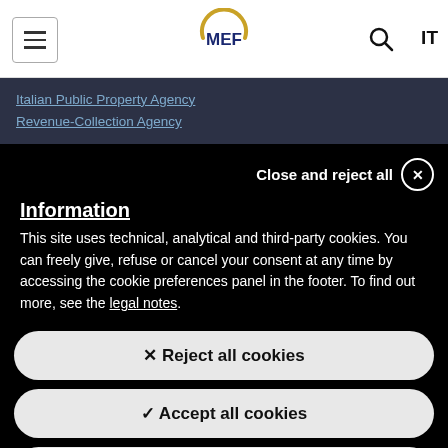MEF — Italian Ministry of Economy and Finance — navigation bar with hamburger menu, MEF logo, search icon, and IT language switcher
Italian Public Property Agency
Revenue-Collection Agency
Close and reject all ✕
Information
This site uses technical, analytical and third-party cookies. You can freely give, refuse or cancel your consent at any time by accessing the cookie preferences panel in the footer. To find out more, see the legal notes.
✕ Reject all cookies
✓ Accept all cookies
Go to cookie preferences